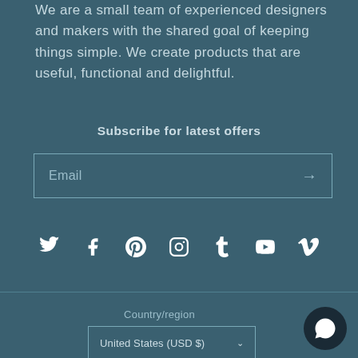We are a small team of experienced designers and makers with the shared goal of keeping things simple. We create products that are useful, functional and delightful.
Subscribe for latest offers
Email →
[Figure (infographic): Social media icons row: Twitter, Facebook, Pinterest, Instagram, Tumblr, YouTube, Vimeo]
Country/region
United States (USD $)